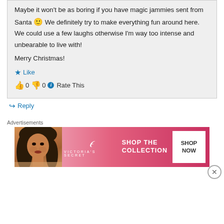Maybe it won't be as boring if you have magic jammies sent from Santa 🙂 We definitely try to make everything fun around here. We could use a few laughs otherwise I'm way too intense and unbearable to live with!
Merry Christmas!
★ Like
👍 0 👎 0 ℹ Rate This
↳ Reply
Advertisements
[Figure (photo): Victoria's Secret advertisement banner showing a model, VS logo, 'SHOP THE COLLECTION' text, and a 'SHOP NOW' button on a pink gradient background.]